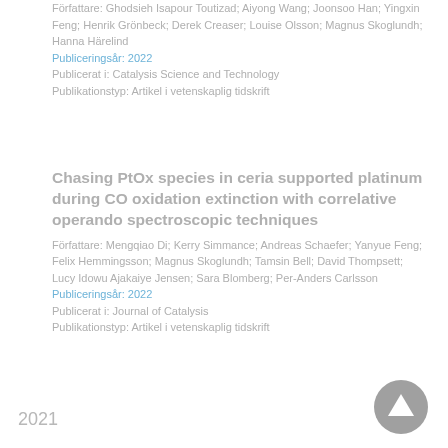Författare: Ghodsieh Isapour Toutizad; Aiyong Wang; Joonsoo Han; Yingxin Feng; Henrik Grönbeck; Derek Creaser; Louise Olsson; Magnus Skoglundh; Hanna Härelind
Publiceringsår: 2022
Publicerat i: Catalysis Science and Technology
Publikationstyp: Artikel i vetenskaplig tidskrift
Chasing PtOx species in ceria supported platinum during CO oxidation extinction with correlative operando spectroscopic techniques
Författare: Mengqiao Di; Kerry Simmance; Andreas Schaefer; Yanyue Feng; Felix Hemmingsson; Magnus Skoglundh; Tamsin Bell; David Thompsett; Lucy Idowu Ajakaiye Jensen; Sara Blomberg; Per-Anders Carlsson
Publiceringsår: 2022
Publicerat i: Journal of Catalysis
Publikationstyp: Artikel i vetenskaplig tidskrift
2021